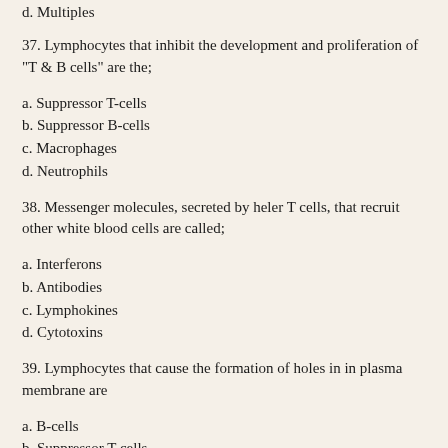d. Multiples
37. Lymphocytes that inhibit the development and proliferation of "T & B cells" are the;
a. Suppressor T-cells
b. Suppressor B-cells
c. Macrophages
d. Neutrophils
38. Messenger molecules, secreted by heler T cells, that recruit other white blood cells are called;
a. Interferons
b. Antibodies
c. Lymphokines
d. Cytotoxins
39. Lymphocytes that cause the formation of holes in in plasma membrane are
a. B-cells
b. Suppressor T-cells
c. Helper T cells
d. Cytotoxic T cells